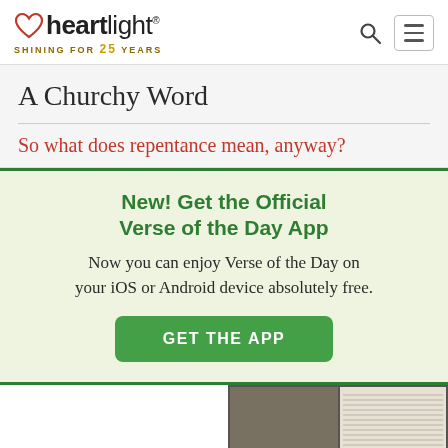heartlight® — SHINING FOR 25 YEARS
A Churchy Word
So what does repentance mean, anyway?
New! Get the Official Verse of the Day App
Now you can enjoy Verse of the Day on your iOS or Android device absolutely free.
GET THE APP
[Figure (photo): Open Bible with text visible, showing pages with printed scripture]